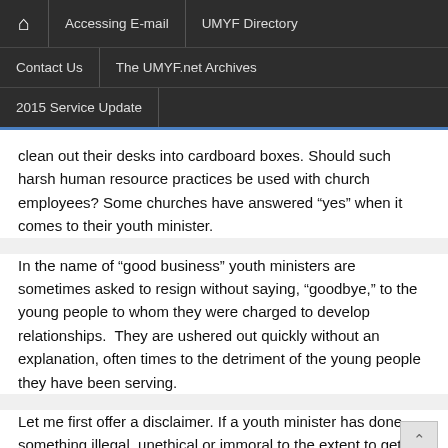🏠 | Accessing E-mail | UMYF Directory | Contact Us | The UMYF.net Archives | 2015 Service Update
clean out their desks into cardboard boxes. Should such harsh human resource practices be used with church employees? Some churches have answered “yes” when it comes to their youth minister.
In the name of “good business” youth ministers are sometimes asked to resign without saying, “goodbye,” to the young people to whom they were charged to develop relationships.  They are ushered out quickly without an explanation, often times to the detriment of the young people they have been serving.
Let me first offer a disclaimer. If a youth minister has done something illegal, unethical or immoral to the extent to get